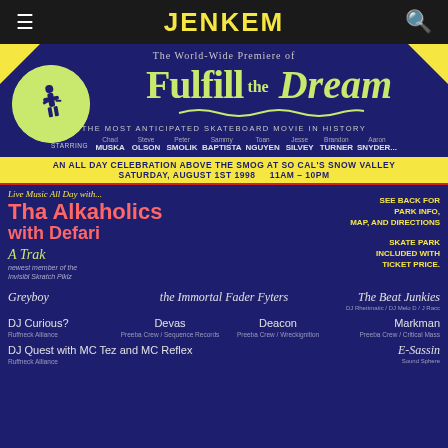JENKEM
The World-Wide Premiere of Fulfill the Dream
THE MOST ANTICIPATED SKATEBOARD MOVIE IN HISTORY
STARRING Chad MUSKA  Steve OLSON  Peter SMOLIK  Sammy BAPTISTA  Toan NGUYEN  Jesse SILVEY  Brandon TURNER  Aaron SNYDER...
AN ALL DAY CELEBRATION ABOVE THE SMOG AT SO CAL'S SNOW VALLEY  SATURDAY, AUGUST 1ST 1998    11AM – 10PM
Live Music All Day with...
Tha Alkaholics with Defari
A Trak
newest member of the Invisibl Skratch Piklz
SEE BACK FOR PARK INFO, MAP, AND DIRECTIONS
SKATE PARK INCLUDED WITH TICKET PRICE.
Greyboy    the Immortal Fader Fyters    The Beat Junkies
DJ Rhettmatic / DJ Melo D / J Racc
DJ Curious?
Ruffneck Alliance    Devas
Preeba Crew / Sequence Records    Deacon
Preeba Crew / Wreckignition    Markman
Preeba Crew / Critical Mass
DJ Quest with MC Tez and MC Reflex
Ruffneck Alliance    E-Sassin
Sound Sphere